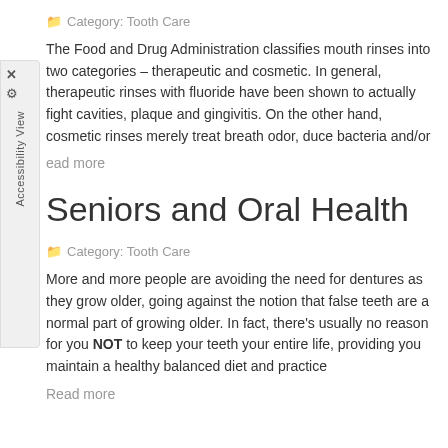Category: Tooth Care
The Food and Drug Administration classifies mouth rinses into two categories – therapeutic and cosmetic. In general, therapeutic rinses with fluoride have been shown to actually fight cavities, plaque and gingivitis. On the other hand, cosmetic rinses merely treat breath odor, duce bacteria and/or
ead more
Seniors and Oral Health
Category: Tooth Care
More and more people are avoiding the need for dentures as they grow older, going against the notion that false teeth are a normal part of growing older. In fact, there's usually no reason for you NOT to keep your teeth your entire life, providing you maintain a healthy balanced diet and practice
Read more